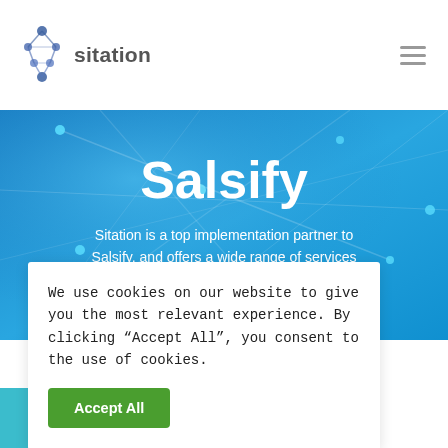sitation
[Figure (illustration): Blue network/connectivity hero banner with the large white bold text 'Salsify' and subtitle 'Sitation is a top implementation partner to Salsify, and offers a wide range of services for its popular PIM and syndication engine']
We use cookies on our website to give you the most relevant experience. By clicking “Accept All”, you consent to the use of cookies.
Accept All
[Figure (logo): Salsify logo text at bottom of page]